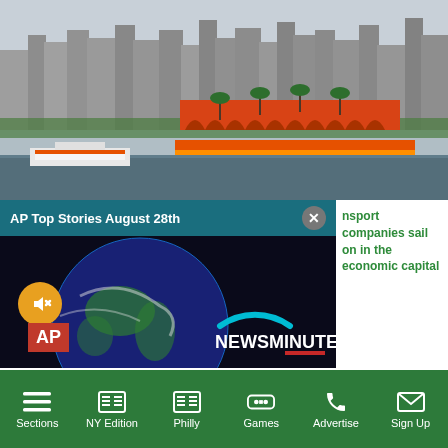[Figure (photo): City skyline across a wide river with boats. Orange-roofed building visible in center. Overcast sky, modern buildings in background. Ferries/water transport on river.]
[Figure (screenshot): AP News video overlay: 'AP Top Stories August 28th' header bar in teal with close X button. Video thumbnail showing Earth globe with 'AP NEWSMINUTE' text and loading arc. Muted speaker icon in orange circle at top left. AP logo in red box bottom left.]
nsport companies sail on in the economic capital
n Ivory Coast's
Sections  NY Edition  Philly  Games  Advertise  Sign Up